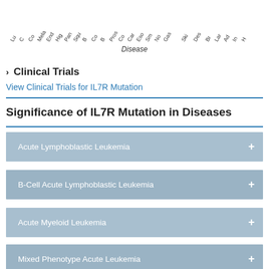[Figure (other): Partial bar chart showing disease categories along x-axis (rotated labels visible at top): Lu, C, Co, Mel, End, Hi, Pa, Squ, B, Co, B, Pros, Co, Car, Eso, Sm, No, Ga, Ski, Des, Br, La, Ad, In, H]
Disease
Clinical Trials
View Clinical Trials for IL7R Mutation
Significance of IL7R Mutation in Diseases
Acute Lymphoblastic Leukemia
B-Cell Acute Lymphoblastic Leukemia
Acute Myeloid Leukemia
Mixed Phenotype Acute Leukemia